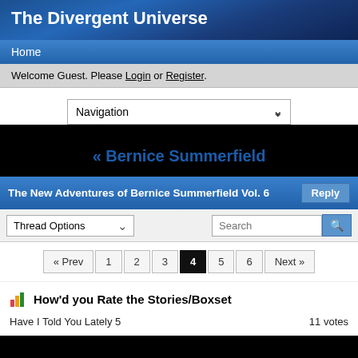The Divergent Universe
Home
Welcome Guest. Please Login or Register.
Navigation
« Bernice Summerfield
The New Adventures of Bernice Summerfield Vol. 6
Thread Options
Search
« Prev  1  2  3  4  5  6  Next »
How'd you Rate the Stories/Boxset
Have I Told You Lately 5    11 votes